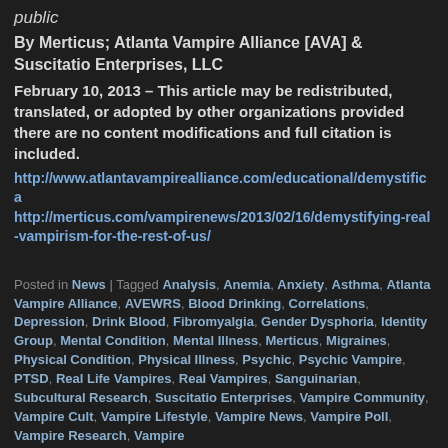public
By Merticus; Atlanta Vampire Alliance [AVA] & Suscitatio Enterprises, LLC
February 10, 2013 – This article may be redistributed, translated, or adopted by other organizations provided there are no content modifications and full citation is included.
http://www.atlantavampirealliance.com/educational/demystifica...
http://merticus.com/vampirenews/2013/02/16/demystifying-real-vampirism-for-the-rest-of-us/
Posted in News | Tagged Analysis, Anemia, Anxiety, Asthma, Atlanta Vampire Alliance, AVEWRS, Blood Drinking, Correlations, Depression, Drink Blood, Fibromyalgia, Gender Dysphoria, Identity Group, Mental Condition, Mental Illness, Merticus, Migraines, Physical Condition, Physical Illness, Psychic, Psychic Vampire, PTSD, Real Life Vampires, Real Vampires, Sanguinarian, Subcultural Research, Suscitatio Enterprises, Vampire Community, Vampire Cult, Vampire Lifestyle, Vampire News, Vampire Poll, Vampire Research, Vampire